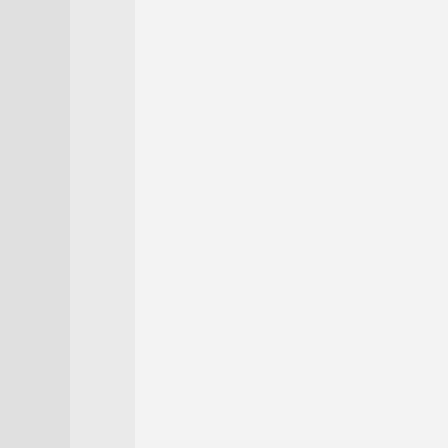RC Airplanes are for adults with And I'm buying the cheapest op The serious people in this hobb more. And they probably built them fro

I do have a love for airplanes. Particularly Warbirds. I flew a bunch of Sims or Fighte when they were very popular or

Anyways, RC Boats or Vehicles Flying these Warbirds that can Dangerous and Crazy in the pa And if this stuff wasn't Bind and ready to fly out of the box, I wou It's fun but I'm not spending wee actually build, wire, paint or any I absolutely hate the idea that I controller. That takes a good hour or two c to do it once per model. So, basically I just keep buying discontinued. The T-28 is by far the better val because it is by far easier to as They both cost the same but the which is not worth it IMO.